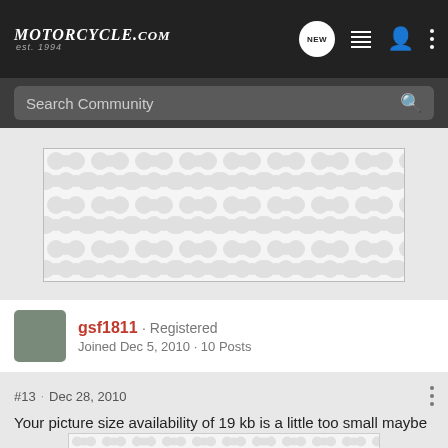MOTORCYCLE.COM est. 1994
Search Community
[Figure (other): Placeholder image with repeating bubble/peanut pattern on white background]
gsf1811 · Registered
Joined Dec 5, 2010 · 10 Posts
#13 · Dec 28, 2010
Your picture size availability of 19 kb is a little too small maybe
[Figure (other): Placeholder image with repeating bubble/peanut pattern on white background]